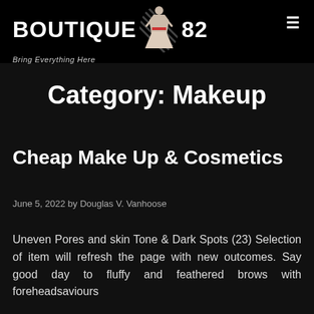BOUTIQUE 82 — Bring Everything Here
Category: Makeup
Cheap Make Up & Cosmetics
June 5, 2022 by Douglas V. Vanhoose
Uneven Pores and skin Tone & Dark Spots (23) Selection of item will refresh the page with new outcomes. Say good day to fluffy and feathered brows with foreheadsaviours